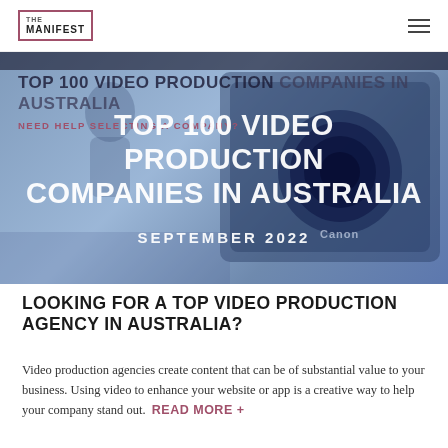THE MANIFEST
[Figure (photo): Blue-tinted hero image of a Canon camera with overlapping text: original headline 'TOP 100 VIDEO PRODUCTION COMPANIES IN AUSTRALIA' and 'NEED HELP SELECTING A COMPANY?' in dark text, plus large white overlay text 'TOP 100 VIDEO PRODUCTION COMPANIES IN AUSTRALIA' and 'SEPTEMBER 2022']
TOP 100 VIDEO PRODUCTION COMPANIES IN AUSTRALIA
NEED HELP SELECTING A COMPANY?
TOP 100 VIDEO PRODUCTION COMPANIES IN AUSTRALIA
SEPTEMBER 2022
LOOKING FOR A TOP VIDEO PRODUCTION AGENCY IN AUSTRALIA?
Video production agencies create content that can be of substantial value to your business. Using video to enhance your website or app is a creative way to help your company stand out.  READ MORE +